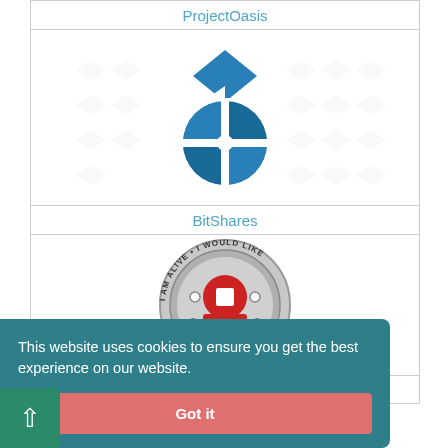ProjectOasis
[Figure (logo): BitShares logo — stylized letter 'b' made of blue geometric pie/shield segments on white background with faint arrow watermark pattern]
BitShares
[Figure (logo): Circular coin/badge logo with text 'I AM ALIVE • I WOULD LIKE' around the rim, red button/icon in center, 'DON' text visible, faint 'DOGENN' text below]
Dogenn
This website uses cookies to ensure you get the best experience on our website.
Got it